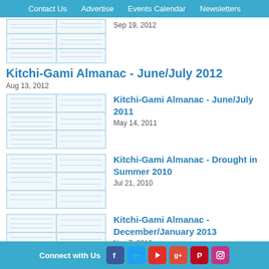Contact Us   Advertise   Events Calendar   Newsletters
[Figure (screenshot): Thumbnail image of a chart/almanac page]
Sep 19, 2012
Kitchi-Gami Almanac - June/July 2012
Aug 13, 2012
[Figure (screenshot): Thumbnail image of almanac chart]
Kitchi-Gami Almanac - June/July 2011
May 14, 2011
[Figure (screenshot): Thumbnail image of almanac chart]
Kitchi-Gami Almanac - Drought in Summer 2010
Jul 21, 2010
[Figure (screenshot): Thumbnail image of almanac chart]
Kitchi-Gami Almanac - December/January 2013
Nov 7, 2012
Kitchi-Gami Almanac
Connect with Us